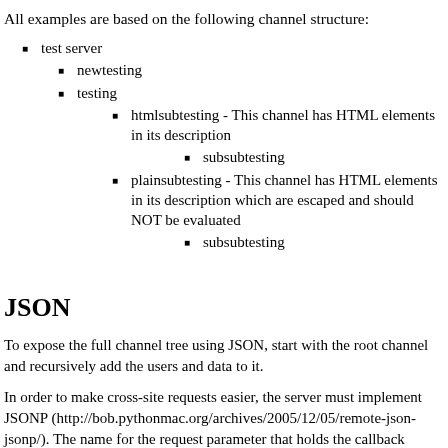All examples are based on the following channel structure:
test server
newtesting
testing
htmlsubtesting - This channel has HTML elements in its description
subsubtesting
plainsubtesting - This channel has HTML elements in its description which are escaped and should NOT be evaluated
subsubtesting
JSON
To expose the full channel tree using JSON, start with the root channel and recursively add the users and data to it.
In order to make cross-site requests easier, the server must implement JSONP (http://bob.pythonmac.org/archives/2005/12/05/remote-json-jsonp/). The name for the request parameter that holds the callback